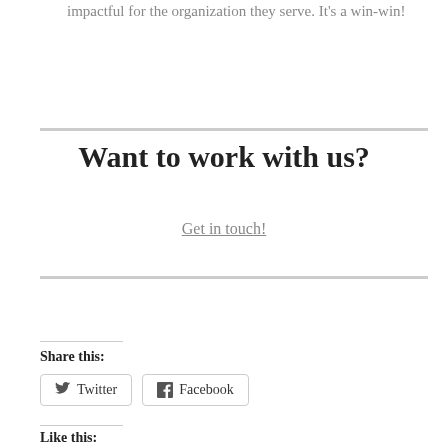impactful for the organization they serve. It's a win-win!
Want to work with us?
Get in touch!
Share this:
Twitter
Facebook
Like this: